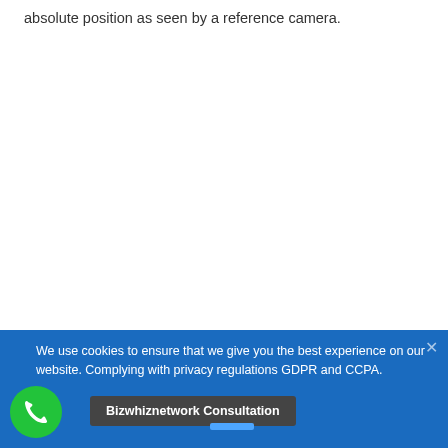absolute position as seen by a reference camera.
We use cookies to ensure that we give you the best experience on our website. Complying with privacy regulations GDPR and CCPA.
Bizwhiznetwork Consultation